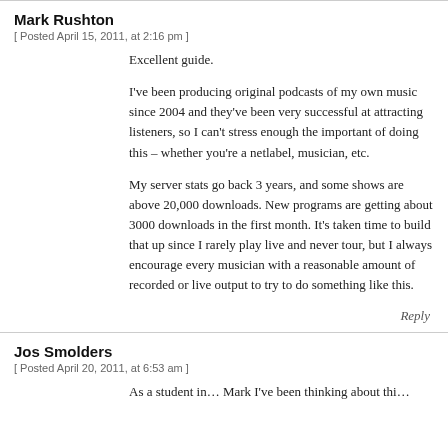Mark Rushton
[ Posted April 15, 2011, at 2:16 pm ]
Excellent guide.
I've been producing original podcasts of my own music since 2004 and they've been very successful at attracting listeners, so I can't stress enough the important of doing this – whether you're a netlabel, musician, etc.
My server stats go back 3 years, and some shows are above 20,000 downloads. New programs are getting about 3000 downloads in the first month. It's taken time to build that up since I rarely play live and never tour, but I always encourage every musician with a reasonable amount of recorded or live output to try to do something like this.
Reply
Jos Smolders
[ Posted April 20, 2011, at 6:53 am ]
As a student in…Mark I've been thinking about thi…